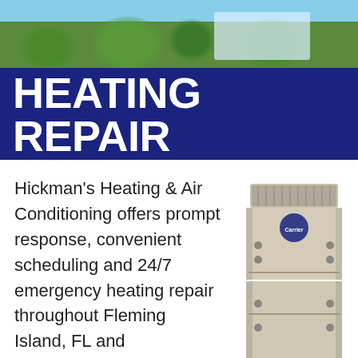[Figure (photo): Header banner with garden/building photo on top and dark blue background below]
HEATING REPAIR
Hickman's Heating & Air Conditioning offers prompt response, convenient scheduling and 24/7 emergency heating repair throughout Fleming Island, FL and surrounding areas. We provide higher integrity of customer service, building relationships through long-term and trusted
[Figure (photo): Carrier brand residential gas furnace unit, beige/cream colored, upright cabinet style]